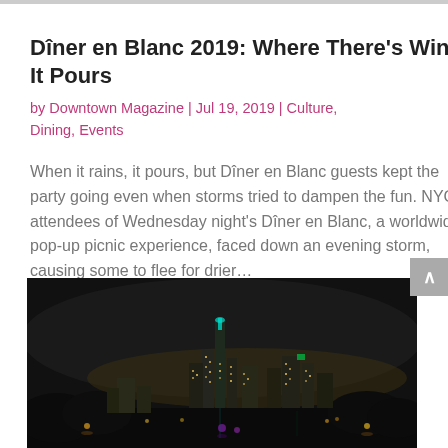Dîner en Blanc 2019: Where There’s Wine, It Pours
by Downtown Magazine  |  Jul 19, 2019  |  Culture, Dining, Events
When it rains, it pours, but Dîner en Blanc guests kept the party going even when storms tried to dampen the fun. NYC attendees of Wednesday night’s Dîner en Blanc, a worldwide pop-up picnic experience,  faced down an evening storm, causing some to flee for drier…
[Figure (photo): Night skyline of New York City with illuminated skyscrapers against a dark sky, including the Freedom Tower with a teal light, viewed across water with lights reflecting.]